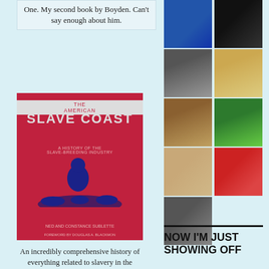One. My second book by Boyden. Can't say enough about him.
[Figure (illustration): Book cover of 'The American Slave Coast' with red background, blue silhouette figure, and subtitle 'A History of the Slave-Breeding Industry']
An incredibly comprehensive history of everything related to slavery in the Southern United States, from the beginning of the colonies to the end of the Civil War. Over 700 pages and I took over 30 pages of notes. I will be sharing over many
[Figure (photo): Grid of avatar profile photos: partially visible circular blue icon, dark square, man in suit, blonde woman, brown-haired woman, green forest trees, woman reading, red swirling logo, person in sunglasses]
NOW I'M JUST SHOWING OFF